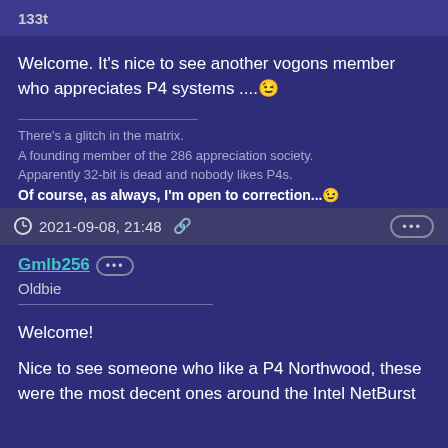133t
Welcome. It's nice to see another vogons member who appreciates P4 systems ....😉
There's a glitch in the matrix.
A founding member of the 286 appreciation society.
Apparently 32-bit is dead and nobody likes P4s.
Of course, as always, I'm open to correction...😉
2021-09-08, 21:48 🔗
Gmlb256
Oldbie
Welcome!
Nice to see someone who like a P4 Northwood, these were the most decent ones around the Intel NetBurst